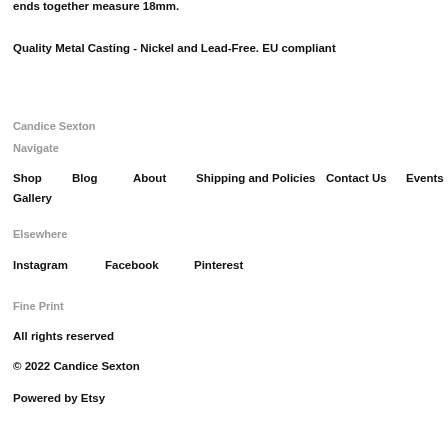ends together measure 18mm.
Quality Metal Casting - Nickel and Lead-Free. EU compliant
Candice Sexton
Navigate
Shop
Blog
About
Shipping and Policies
Contact Us
Events
Gallery
Elsewhere
Instagram
Facebook
Pinterest
Fine Print
All rights reserved
© 2022 Candice Sexton
Powered by Etsy